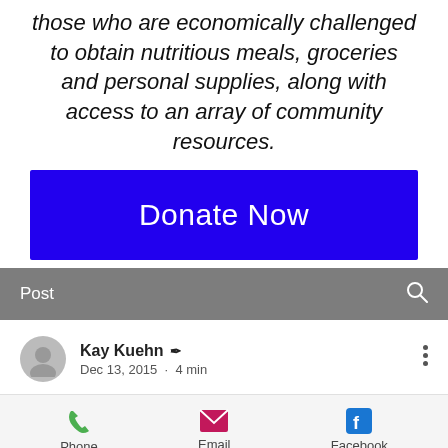those who are economically challenged to obtain nutritious meals, groceries and personal supplies, along with access to an array of community resources.
[Figure (other): Blue 'Donate Now' button]
[Figure (screenshot): Gray toolbar with 'Post' label and search icon]
Kay Kuehn ✍ Dec 13, 2015 · 4 min
[Figure (other): Contact bar with Phone, Email, and Facebook icons]